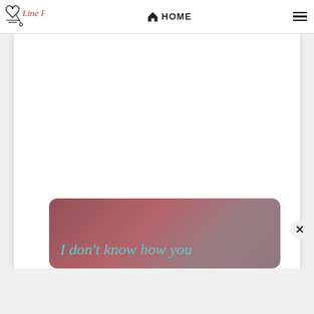Line Poetry — HOME navigation bar with hamburger menu
[Figure (illustration): Poetry website card with dark reddish background and teal italic text reading 'I don't know how you']
I don't know how you